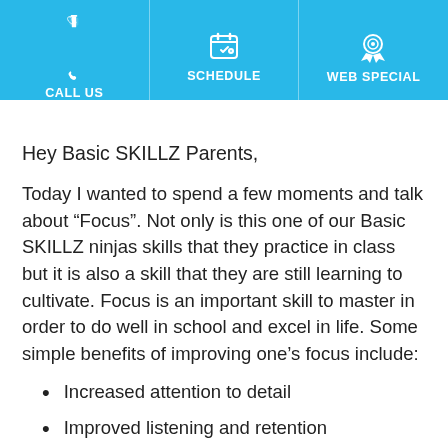CALL US | SCHEDULE | WEB SPECIAL
Hey Basic SKILLZ Parents,
Today I wanted to spend a few moments and talk about “Focus”. Not only is this one of our Basic SKILLZ ninjas skills that they practice in class but it is also a skill that they are still learning to cultivate. Focus is an important skill to master in order to do well in school and excel in life. Some simple benefits of improving one’s focus include:
Increased attention to detail
Improved listening and retention
Increased ability to be still and focus
In class we typically will work on practicing focus in 3 different ways: Focus with our eyes, ears, and body. Here